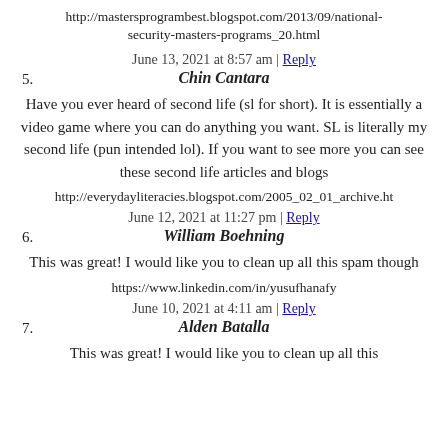http://mastersprogrambest.blogspot.com/2013/09/national-security-masters-programs_20.html
June 13, 2021 at 8:57 am | Reply
5. Chin Cantara
Have you ever heard of second life (sl for short). It is essentially a video game where you can do anything you want. SL is literally my second life (pun intended lol). If you want to see more you can see these second life articles and blogs
http://everydayliteracies.blogspot.com/2005_02_01_archive.ht
June 12, 2021 at 11:27 pm | Reply
6. William Boehning
This was great! I would like you to clean up all this spam though
https://www.linkedin.com/in/yusufhanafy
June 10, 2021 at 4:11 am | Reply
7. Alden Batalla
This was great! I would like you to clean up all this